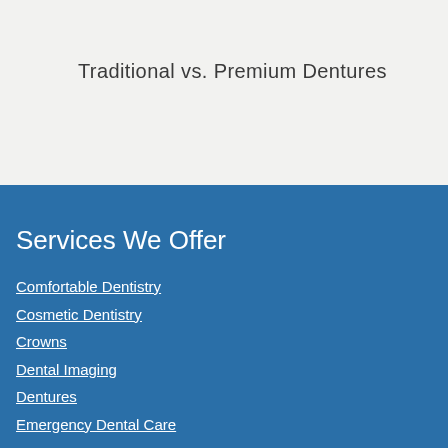Traditional vs. Premium Dentures
Services We Offer
Comfortable Dentistry
Cosmetic Dentistry
Crowns
Dental Imaging
Dentures
Emergency Dental Care